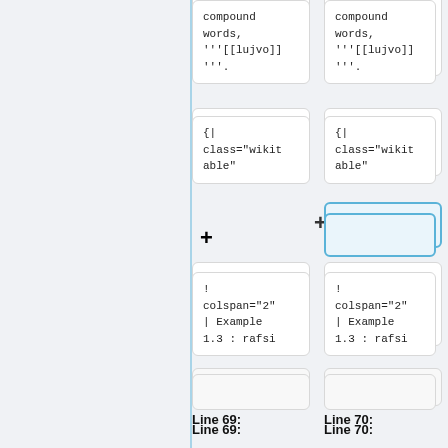compound words, '''[[lujvo]]'''.
compound words, '''[[lujvo]]'''.
{|
class="wikitable"
{|
class="wikitable"
! colspan="2"
| Example
1.3 : rafsi
! colspan="2"
| Example
1.3 : rafsi
Line 69:
Line 70:
|}
|}
{|
class="wikit
{|
class="wikit